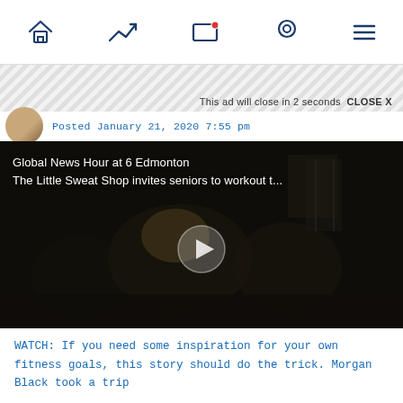Navigation bar with icons: home, trending, notifications, location, menu
[Figure (screenshot): Ad banner with diagonal striped pattern and close notice]
This ad will close in 2 seconds  CLOSE X
Posted January 21, 2020 7:55 pm
[Figure (screenshot): Video thumbnail showing Global News Hour at 6 Edmonton - The Little Sweat Shop invites seniors to workout t... with play button overlay on dark gym scene]
WATCH: If you need some inspiration for your own fitness goals, this story should do the trick. Morgan Black took a trip